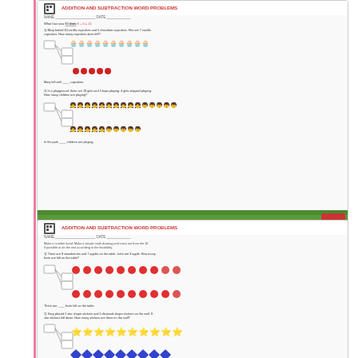[Figure (illustration): Worksheet thumbnail showing 'Addition and Subtraction Word Problems' with number bond diagrams and cupcake/children images]
Make a number bond
[Figure (illustration): Worksheet thumbnail showing 'Addition and Subtraction Word Problems' with number bond diagrams, strawberries, star stickers, and cookie images]
Make a number bond
[Figure (illustration): Partial worksheet thumbnail showing 'Addition and Subtraction Word Problems' with number bond diagrams]